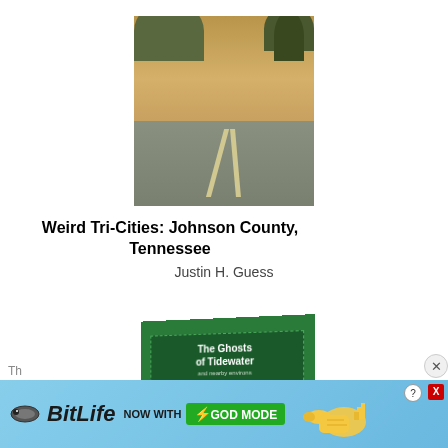[Figure (photo): Sepia-toned photograph of a road receding into the distance with hills and trees in the background, used as a book cover image for 'Weird Tri-Cities: Johnson County, Tennessee']
Weird Tri-Cities: Johnson County, Tennessee
Justin H. Guess
[Figure (photo): Photo of a green book cover for 'The Ghosts of Tidewater and nearby environs' featuring black and white photographs of a house and a person's face]
[Figure (advertisement): BitLife game advertisement banner reading 'NOW WITH GOD MODE' with animated worm logo and pointing hand graphic]